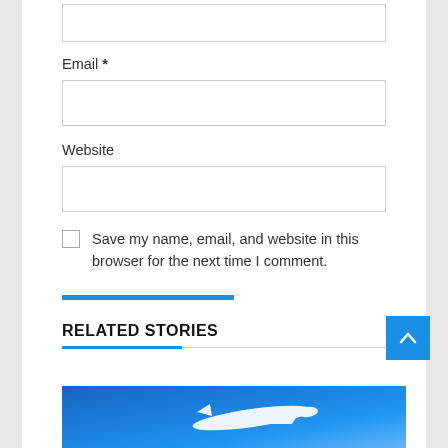[Figure (screenshot): Partially visible text input box at top of comment form]
Email *
[Figure (screenshot): Email input text field]
Website
[Figure (screenshot): Website input text field]
Save my name, email, and website in this browser for the next time I comment.
POST COMMENT
RELATED STORIES
[Figure (photo): Partial image of an airplane against a blue sky]